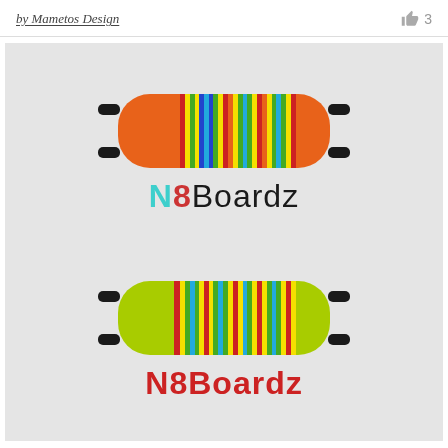by Mametos Design   👍 3
[Figure (logo): Two N8Boardz skateboard logo designs on gray background. Top logo: colorful striped longboard (rainbow stripes on orange base) with black wheels, with 'N8Boardz' text below where N is teal, 8 is red, Boardz is black. Bottom logo: identical design with yellow-green base and all-red 'N8Boardz' text.]